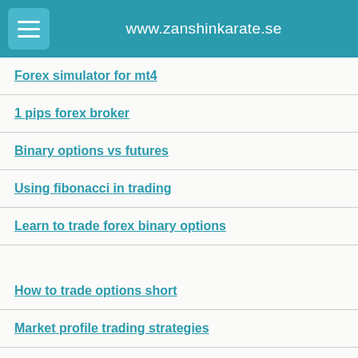www.zanshinkarate.se
Forex simulator for mt4
1 pips forex broker
Binary options vs futures
Using fibonacci in trading
Learn to trade forex binary options
How to trade options short
Market profile trading strategies
Trading courses yorkshire
Forex rates vs pak rupees